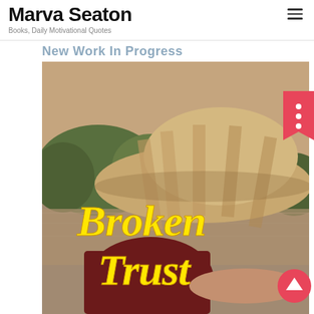Marva Seaton
Books, Daily Motivational Quotes
New Work In Progress
[Figure (photo): Book cover for 'Broken Trust' by Marva Seaton. A woman wearing a wide-brimmed straw hat sits by a lake with trees in background, image has warm sepia tone. Bold yellow italic text reads 'Broken Trust' overlaid on the image.]
[Figure (other): Pink/red bookmark icon with three white dots (vertical ellipsis) in top right corner]
[Figure (other): Red/coral circular scroll-to-top button with white upward arrow, bottom right]